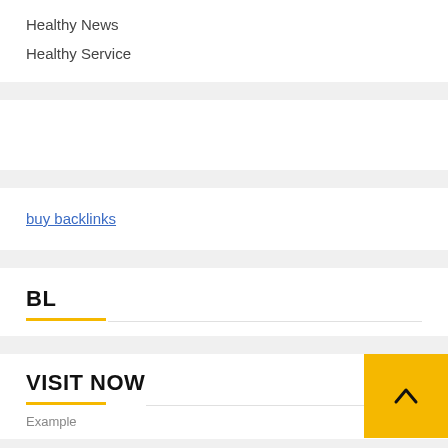Healthy News
Healthy Service
buy backlinks
BL
VISIT NOW
Example